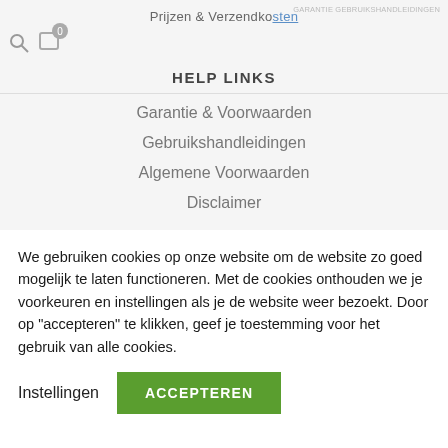Prijzen & Verzendkosten
[Figure (screenshot): Navigation icons: search icon and cart icon with badge showing 0]
HELP LINKS
Garantie & Voorwaarden
Gebruikshandleidingen
Algemene Voorwaarden
Disclaimer
We gebruiken cookies op onze website om de website zo goed mogelijk te laten functioneren. Met de cookies onthouden we je voorkeuren en instellingen als je de website weer bezoekt. Door op "accepteren" te klikken, geef je toestemming voor het gebruik van alle cookies.
Instellingen  ACCEPTEREN